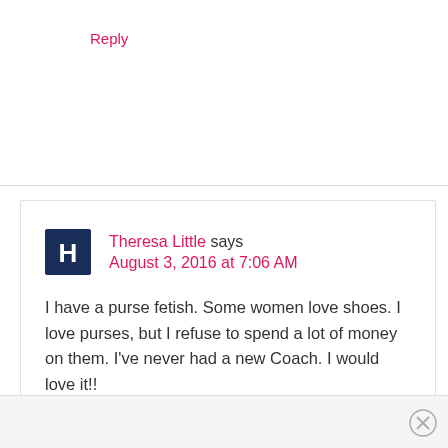Reply
Theresa Little says August 3, 2016 at 7:06 AM
I have a purse fetish. Some women love shoes. I love purses, but I refuse to spend a lot of money on them. I've never had a new Coach. I would love it!!
Reply